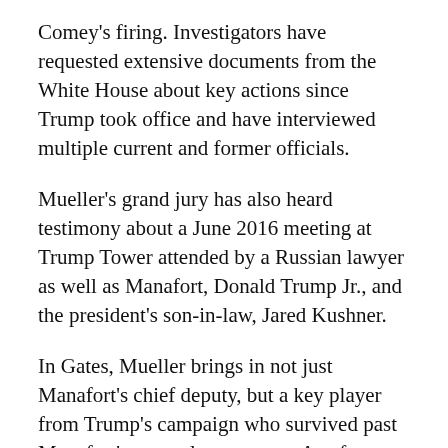Comey's firing. Investigators have requested extensive documents from the White House about key actions since Trump took office and have interviewed multiple current and former officials.
Mueller's grand jury has also heard testimony about a June 2016 meeting at Trump Tower attended by a Russian lawyer as well as Manafort, Donald Trump Jr., and the president's son-in-law, Jared Kushner.
In Gates, Mueller brings in not just Manafort's chief deputy, but a key player from Trump's campaign who survived past Manafort's ouster last summer. As of two weeks ago, Gates was still working for Tom Barrack, a Trump confidant, helping with the closeout of the inauguration committee's campaign account.